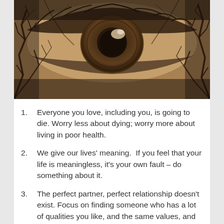[Figure (photo): Sepia-toned double exposure photograph of a close-up human eye overlaid with bare winter tree branches against a pale sky. The image has a dark, moody, atmospheric quality with warm brown and dark tones.]
Everyone you love, including you, is going to die. Worry less about dying; worry more about living in poor health.
We give our lives' meaning.  If you feel that your life is meaningless, it's your own fault – do something about it.
The perfect partner, perfect relationship doesn't exist. Focus on finding someone who has a lot of qualities you like, and the same values, and